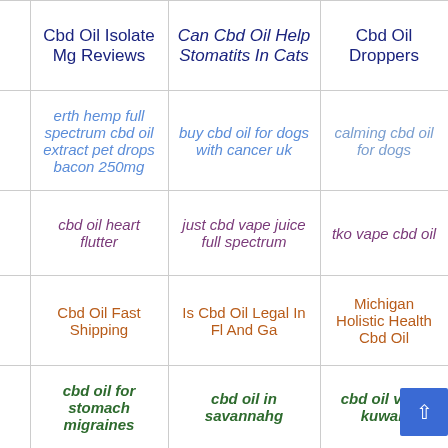|  | Col1 | Col2 | Col3 |
| --- | --- | --- | --- |
|  | Cbd Oil Isolate Mg Reviews | Can Cbd Oil Help Stomatits In Cats | Cbd Oil Droppers |
|  | erth hemp full spectrum cbd oil extract pet drops bacon 250mg | buy cbd oil for dogs with cancer uk | calming cbd oil for dogs |
|  | cbd oil heart flutter | just cbd vape juice full spectrum | tko vape cbd oil |
|  | Cbd Oil Fast Shipping | Is Cbd Oil Legal In Fl And Ga | Michigan Holistic Health Cbd Oil |
|  | cbd oil for stomach migraines | cbd oil in savannahg | cbd oil vape kuwait |